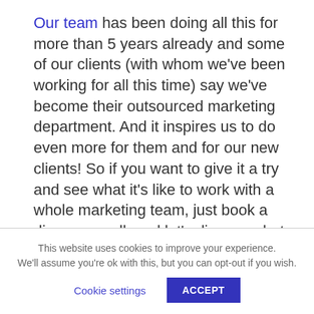Our team has been doing all this for more than 5 years already and some of our clients (with whom we've been working for all this time) say we've become their outsourced marketing department. And it inspires us to do even more for them and for our new clients! So if you want to give it a try and see what it's like to work with a whole marketing team, just book a discovery call, and let's discuss what we can do for you.
This website uses cookies to improve your experience. We'll assume you're ok with this, but you can opt-out if you wish. Cookie settings ACCEPT